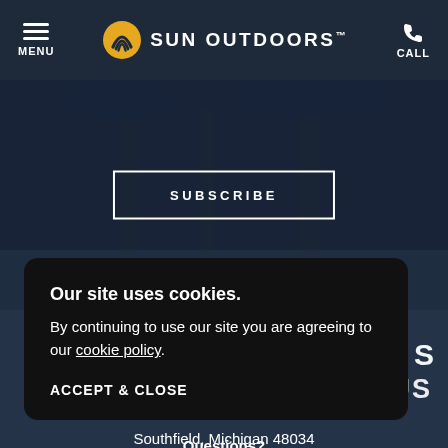MENU | SUN OUTDOORS | CALL
[Figure (screenshot): Hero background image showing blurred palm trees with dark blue overlay and a SUBSCRIBE button in the center]
[Figure (logo): Sun Outdoors golden concentric arc logo in footer area]
Our site uses cookies.
By continuing to use our site you are agreeing to our cookie policy.
ACCEPT & CLOSE
27777 Franklin Road
Southfield, Michigan 48034
Questions?